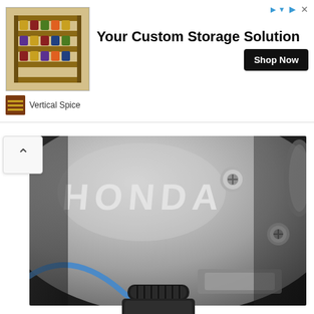[Figure (screenshot): Advertisement banner for Vertical Spice showing a spice rack product image on the left, bold headline 'Your Custom Storage Solution' in center, black 'Shop Now' button on right, Vertical Spice brand name below. Blue triangle ad icon and X close button in top right corner.]
[Figure (photo): Close-up photo of a silver Honda engine case/clutch cover with embossed HONDA lettering, bolts visible, metallic silver color. A scroll-up chevron button appears at the left side.]
so obviously you want fresh clean oil in there and something that safety use with wet clutches and is a quality oil as well the gear oil I've been using lately is this maxima MTL (image below) it says right on it wet clutch approved.
[Figure (photo): Partial view of a black-capped oil bottle (Maxima MTL gear oil) at the bottom of the page, partially cut off.]